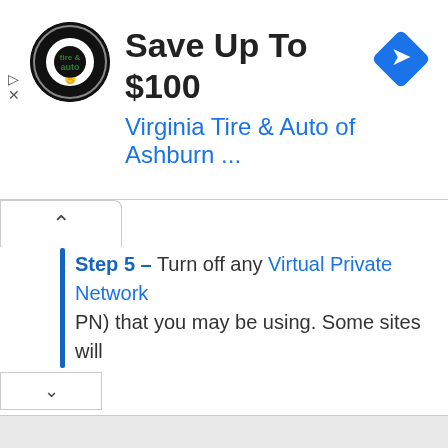[Figure (screenshot): Advertisement banner for Virginia Tire & Auto of Ashburn with logo, headline 'Save Up To $100', subheadline 'Virginia Tire & Auto of Ashburn ...', blue diamond turn icon, and play/close controls]
[Figure (screenshot): Web browser UI showing a collapsed navigation tab with up chevron, a vertical blue line on the left side, and partial text reading 'Step 5 – Turn off any Virtual Private Network (PN) that you may be using. Some sites will']